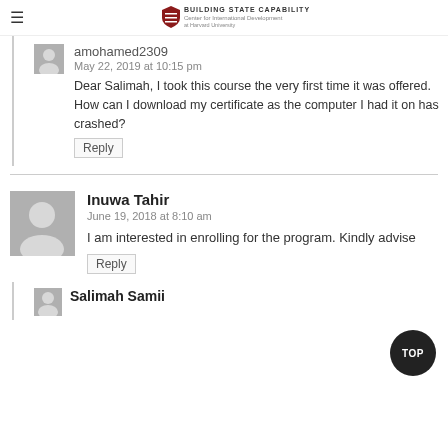Building State Capability — Center for International Development at Harvard University
amohamed2309
May 22, 2019 at 10:15 pm
Dear Salimah, I took this course the very first time it was offered. How can I download my certificate as the computer I had it on has crashed?
Reply
Inuwa Tahir
June 19, 2018 at 8:10 am
I am interested in enrolling for the program. Kindly advise
Reply
Salimah Samii